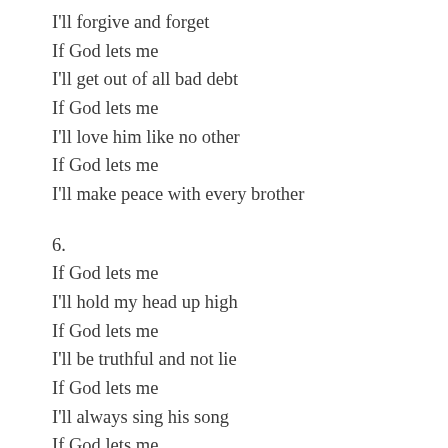I'll forgive and forget
If God lets me
I'll get out of all bad debt
If God lets me
I'll love him like no other
If God lets me
I'll make peace with every brother
6.
If God lets me
I'll hold my head up high
If God lets me
I'll be truthful and not lie
If God lets me
I'll always sing his song
If God lets me
I'll make right every wrong